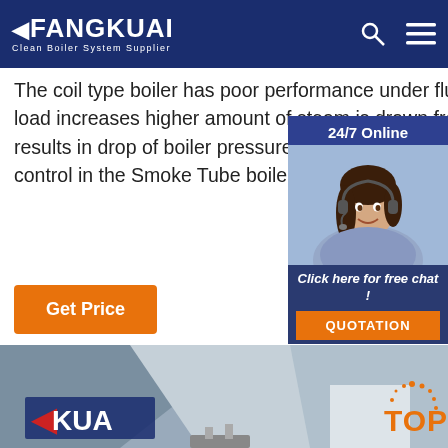FANGKUAI - Clean Boiler System Supplier
The coil type boiler has poor performance under fluctuating load. Whenever the steam load increases higher amount of steam is drawn from the boiler steam space and results in drop of boiler pressure due to which again burner is fired, hence the pressure control in the Smoke Tube boiler is better. This ... carry over, and thus dry ...
[Figure (screenshot): 24/7 Online chat widget with woman wearing headset, with Click here for free chat! and QUOTATION button]
Get Price
[Figure (photo): Interior photo of industrial boiler facility with Fangkuai branding and equipment visible]